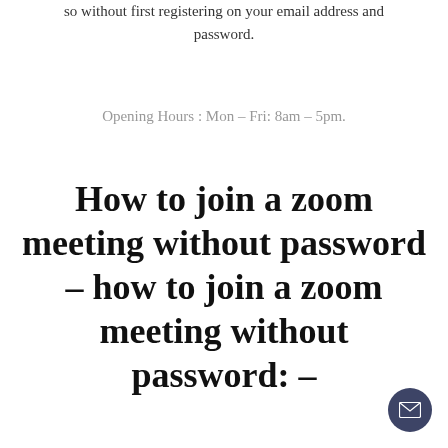so without first registering on your email address and password.
Opening Hours : Mon – Fri: 8am – 5pm.
How to join a zoom meeting without password – how to join a zoom meeting without password: –